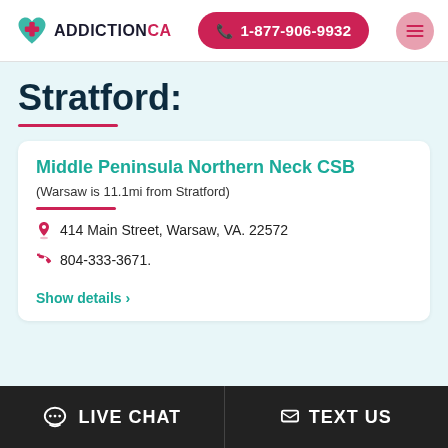ADDICTIONCA | 1-877-906-9932
Stratford:
Middle Peninsula Northern Neck CSB
(Warsaw is 11.1mi from Stratford)
414 Main Street, Warsaw, VA. 22572
804-333-3671.
Show details >
LIVE CHAT | TEXT US